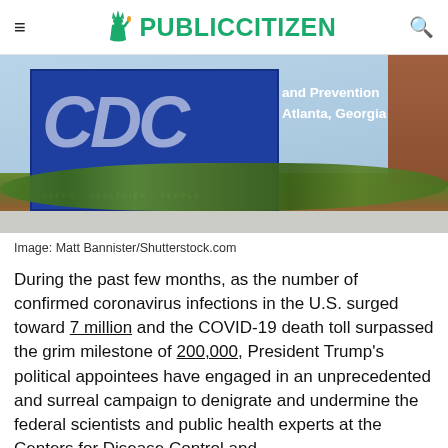PUBLIC CITIZEN
[Figure (photo): CDC sign at headquarters in Atlanta, Georgia, with blue sign showing CDC logo and text 'and Prevention Atlanta, Georgia', surrounded by landscaping and shrubbery]
Image: Matt Bannister/Shutterstock.com
During the past few months, as the number of confirmed coronavirus infections in the U.S. surged toward 7 million and the COVID-19 death toll surpassed the grim milestone of 200,000, President Trump's political appointees have engaged in an unprecedented and surreal campaign to denigrate and undermine the federal scientists and public health experts at the Centers for Disease Control and